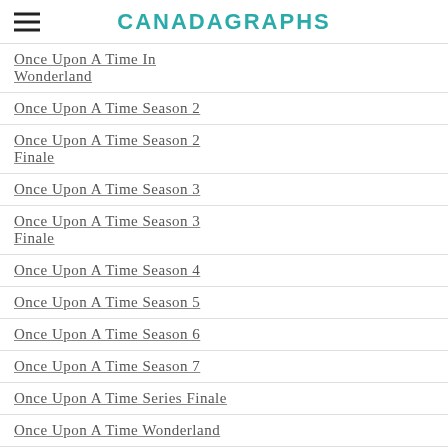CANADAGRAPHS
Once Upon A Time In Wonderland
Once Upon A Time Season 2
Once Upon A Time Season 2 Finale
Once Upon A Time Season 3
Once Upon A Time Season 3 Finale
Once Upon A Time Season 4
Once Upon A Time Season 5
Once Upon A Time Season 6
Once Upon A Time Season 7
Once Upon A Time Series Finale
Once Upon A Time Wonderland
OUAT